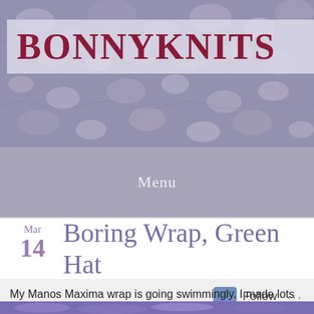BONNYKNITS
Menu
Mar
14
Boring Wrap, Green Hat
My Manos Maxima wrap is going swimmingly. I made lots of progress yesterday while I watched a movie on a wet, gray day.
[Figure (photo): Purple knitted wrap/hat items in progress]
Follow ...